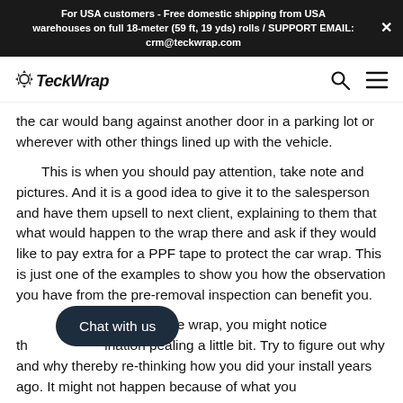For USA customers - Free domestic shipping from USA warehouses on full 18-meter (59 ft, 19 yds) rolls / SUPPORT EMAIL: crm@teckwrap.com
[Figure (logo): TeckWrap logo with gear icon, search and hamburger menu icons on the right]
the car would bang against another door in a parking lot or wherever with other things lined up with the vehicle.
This is when you should pay attention, take note and pictures. And it is a good idea to give it to the salesperson and have them upsell to next client, explaining to them that what would happen to the wrap there and ask if they would like to pay extra for a PPF tape to protect the car wrap. This is just one of the examples to show you how the observation you have from the pre-removal inspection can benefit you.
...going over the wrap, you might notice the...ination pealing a little bit. Try to figure out why and why thereby re-thinking how you did your install years ago. It might not happen because of what you